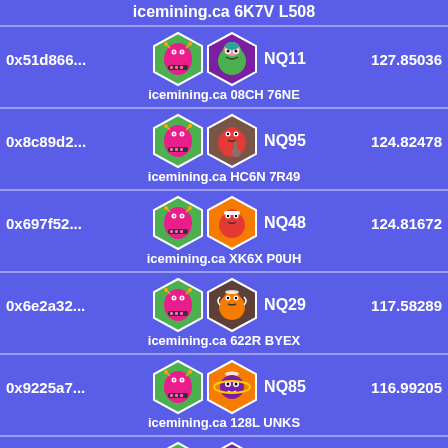icemining.ca 6K7V L508
0x51d866... | NQ11 | 127.85036 | icemining.ca 08CH 76NE
0x8c89d2... | NQ95 | 124.82478 | icemining.ca HC6N 7R49
0x697f52... | NQ48 | 124.81672 | icemining.ca XK6X P0UH
0x6e2a32... | NQ29 | 117.58289 | icemining.ca 622R BYEX
0x9225a7... | NQ85 | 116.99205 | icemining.ca 128L UNKS
0xcc4112... | NQ05 | 116.92932